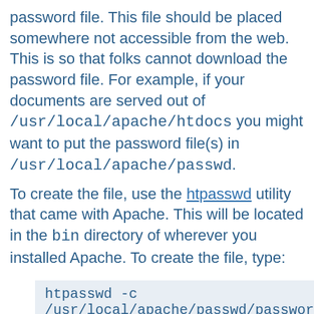password file. This file should be placed somewhere not accessible from the web. This is so that folks cannot download the password file. For example, if your documents are served out of /usr/local/apache/htdocs you might want to put the password file(s) in /usr/local/apache/passwd.
To create the file, use the htpasswd utility that came with Apache. This will be located in the bin directory of wherever you installed Apache. To create the file, type:
htpasswd -c
/usr/local/apache/passwd/passwords